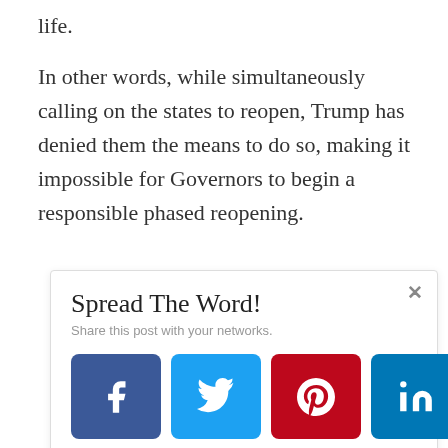life.
In other words, while simultaneously calling on the states to reopen, Trump has denied them the means to do so, making it impossible for Governors to begin a responsible phased reopening.
Spread The Word!
Share this post with your networks.
[Figure (infographic): Four social share buttons: Facebook (dark blue, f icon), Twitter (light blue, bird icon), Pinterest (red, P icon), LinkedIn (blue, in icon)]